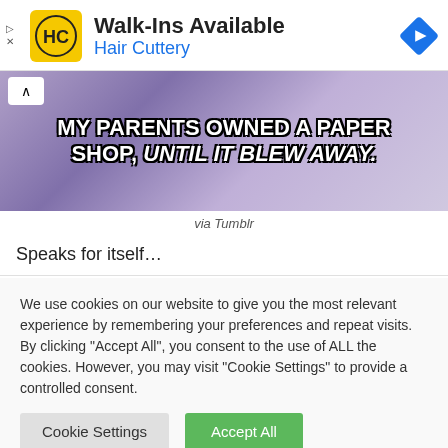[Figure (screenshot): Hair Cuttery advertisement banner with logo, 'Walk-Ins Available' heading, 'Hair Cuttery' subtitle in blue, play/close controls, and navigation diamond icon]
[Figure (photo): Meme image of a person in a purple shirt with white bold Impact text overlay reading 'MY PARENTS OWNED A PAPER SHOP, UNTIL IT BLEW AWAY.']
via Tumblr
Speaks for itself…
We use cookies on our website to give you the most relevant experience by remembering your preferences and repeat visits. By clicking "Accept All", you consent to the use of ALL the cookies. However, you may visit "Cookie Settings" to provide a controlled consent.
Cookie Settings | Accept All